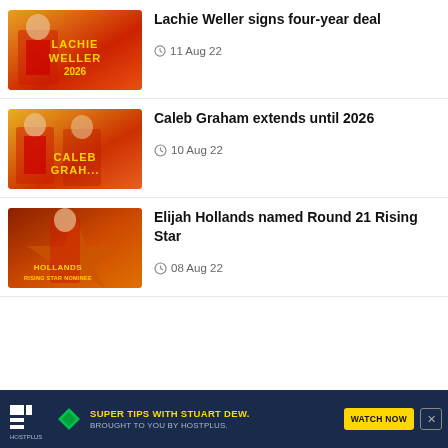[Figure (photo): Lachie Weller in red Gold Coast Suns jersey with text LACHIE WELLER 2026 and signature on orange/red gradient background]
Lachie Weller signs four-year deal
11 Aug 22
[Figure (photo): Caleb Graham in red Gold Coast Suns jersey with text CALEB GRAHAM and signature on orange/red gradient background]
Caleb Graham extends until 2026
10 Aug 22
[Figure (photo): Elijah Hollands in red Gold Coast Suns jersey with star graphic and text HOLLANDS RISING STAR NOMINEE on dark orange background]
Elijah Hollands named Round 21 Rising Star
08 Aug 22
[Figure (other): Hostplus advertisement banner: Super tips with Stuart Dew, brought to you by Hostplus. Watch Now button.]